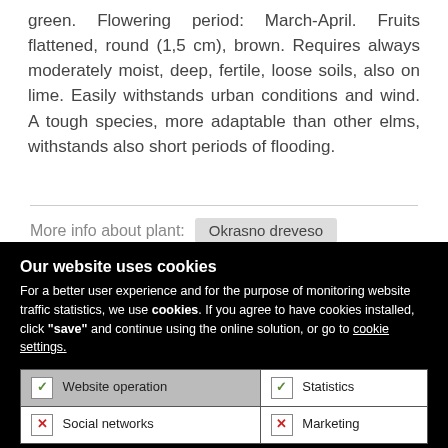green. Flowering period: March-April. Fruits flattened, round (1,5 cm), brown. Requires always moderately moist, deep, fertile, loose soils, also on lime. Easily withstands urban conditions and wind. A tough species, more adaptable than other elms, withstands also short periods of flooding.
More info about plant:  Okrasno dreveso
Our website uses cookies
For a better user experience and for the purpose of monitoring website traffic statistics, we use cookies. If you agree to have cookies installed, click "save" and continue using the online solution, or go to cookie settings.
| ✓  Website operation | ✓  Statistics |
| ✗  Social networks | ✗  Marketing |
More about cookies
SAVE